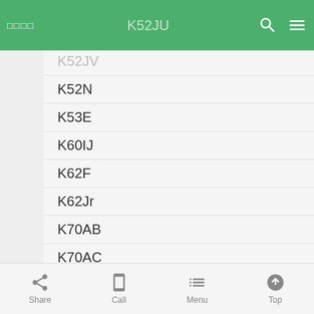□□□□  K52JU  K52JV
K52N
K53E
K60IJ
K62F
K62Jr
K70AB
K70AC
K70AD
K70AE
K70IC
K70ID
K70IO
K72DR
Share  Call  Menu  Top